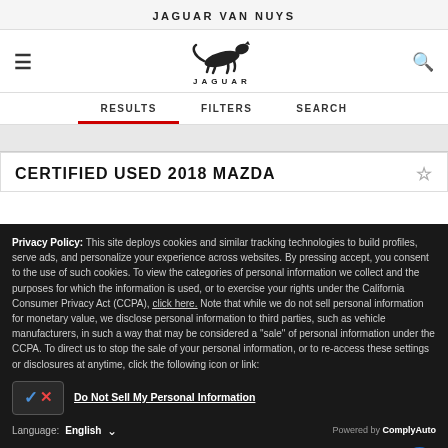JAGUAR VAN NUYS
[Figure (logo): Jaguar leaping cat logo with JAGUAR wordmark below]
RESULTS   FILTERS   SEARCH
CERTIFIED USED 2018 MAZDA
Privacy Policy: This site deploys cookies and similar tracking technologies to build profiles, serve ads, and personalize your experience across websites. By pressing accept, you consent to the use of such cookies. To view the categories of personal information we collect and the purposes for which the information is used, or to exercise your rights under the California Consumer Privacy Act (CCPA), click here. Note that while we do not sell personal information for monetary value, we disclose personal information to third parties, such as vehicle manufacturers, in such a way that may be considered a "sale" of personal information under the CCPA. To direct us to stop the sale of your personal information, or to re-access these settings or disclosures at anytime, click the following icon or link:
Do Not Sell My Personal Information
Language: English   Powered by ComplyAuto
ACCEPT AND CONTINUE →   California Privacy Disclosures